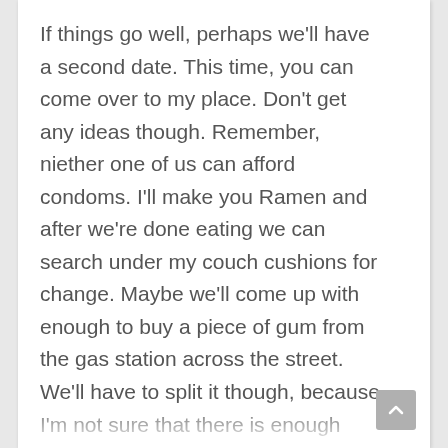If things go well, perhaps we'll have a second date. This time, you can come over to my place. Don't get any ideas though. Remember, niether one of us can afford condoms. I'll make you Ramen and after we're done eating we can search under my couch cushions for change. Maybe we'll come up with enough to buy a piece of gum from the gas station across the street. We'll have to split it though, because I'm not sure that there is enough change for two double bubbles in my couch.

Don't worry about running out of activities just because we're both